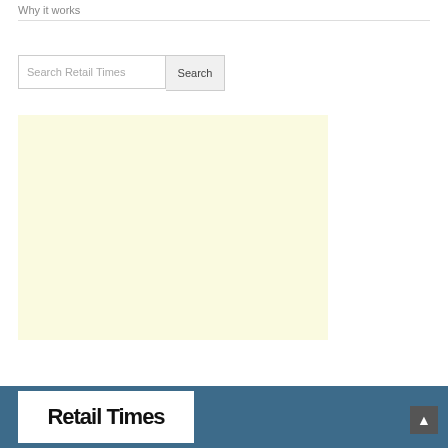Why it works
[Figure (other): Search bar with text 'Search Retail Times' and a Search button]
[Figure (other): Light yellow advertisement placeholder block]
[Figure (other): Dark blue footer bar with Retail Times logo in white box on left and scroll-to-top button on right]